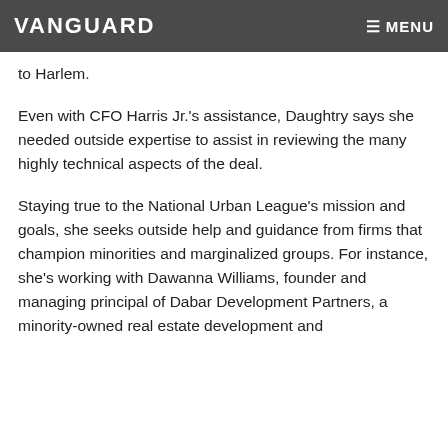VANGUARD | MENU
funds for the project, as it's anticipated to bring employment and economic growth opportunities to Harlem.
Even with CFO Harris Jr.'s assistance, Daughtry says she needed outside expertise to assist in reviewing the many highly technical aspects of the deal.
Staying true to the National Urban League's mission and goals, she seeks outside help and guidance from firms that champion minorities and marginalized groups. For instance, she's working with Dawanna Williams, founder and managing principal of Dabar Development Partners, a minority-owned real estate development and